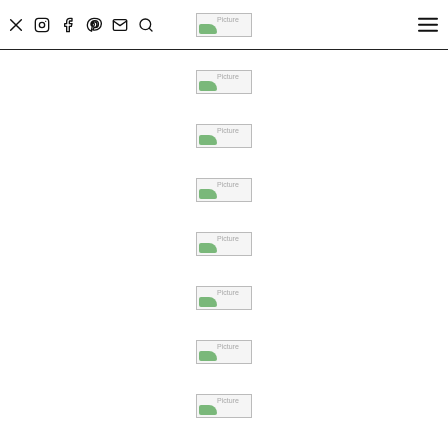Social media icons (Twitter, Instagram, Facebook, Pinterest, Mail, Search) and hamburger menu; logo placeholder centered
[Figure (photo): Broken image placeholder labeled 'Picture']
[Figure (photo): Broken image placeholder labeled 'Picture']
[Figure (photo): Broken image placeholder labeled 'Picture']
[Figure (photo): Broken image placeholder labeled 'Picture']
[Figure (photo): Broken image placeholder labeled 'Picture']
[Figure (photo): Broken image placeholder labeled 'Picture']
[Figure (photo): Broken image placeholder labeled 'Picture']